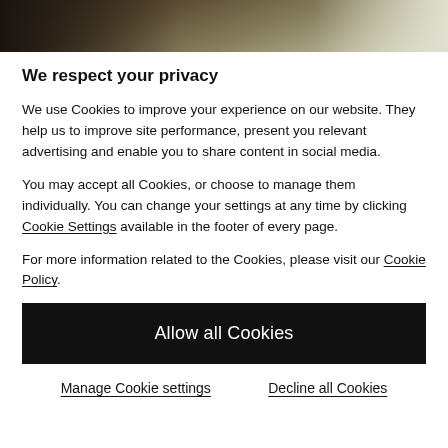[Figure (photo): Partial photo strip at top showing a blurred background scene with dark and light tones, appears to be a person near a desk or table.]
We respect your privacy
We use Cookies to improve your experience on our website. They help us to improve site performance, present you relevant advertising and enable you to share content in social media.
You may accept all Cookies, or choose to manage them individually. You can change your settings at any time by clicking Cookie Settings available in the footer of every page.
For more information related to the Cookies, please visit our Cookie Policy.
Allow all Cookies
Manage Cookie settings
Decline all Cookies